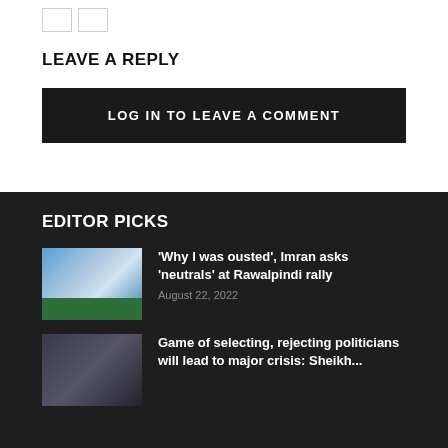LEAVE A REPLY
LOG IN TO LEAVE A COMMENT
EDITOR PICKS
[Figure (photo): A man in a dark jacket speaking at a podium with a green banner reading www.azamardsaz.com]
'Why I was ousted', Imran asks 'neutrals' at Rawalpindi rally
August 22, 2022
[Figure (photo): A man in a dark outfit in a crowd or public setting]
Game of selecting, rejecting politicians will lead to major crisis: Sheikh...